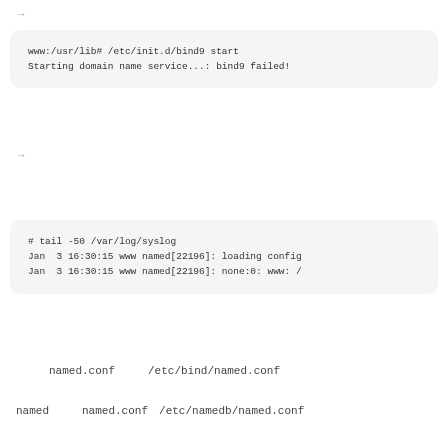→
www:/usr/lib# /etc/init.d/bind9 start
Starting domain name service...: bind9 failed!
→
# tail -50 /var/log/syslog
Jan  3 16:30:15 www named[22196]: loading config
Jan  3 16:30:15 www named[22196]: none:0: www: /
named.conf　　　/etc/bind/named.conf
named　　　named.conf　/etc/namedb/named.conf